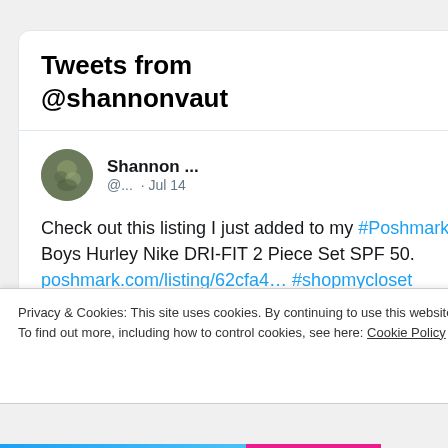Tweets from @shannonvaut
Shannon ... @... · Jul 14
Check out this listing I just added to my #Poshmark closet: Boys Hurley Nike DRI-FIT 2 Piece Set SPF 50. poshmark.com/listing/62cfa4… #shopmycloset @poshmarkapp
Privacy & Cookies: This site uses cookies. By continuing to use this website, you agree to their use.
To find out more, including how to control cookies, see here: Cookie Policy
Close and accept